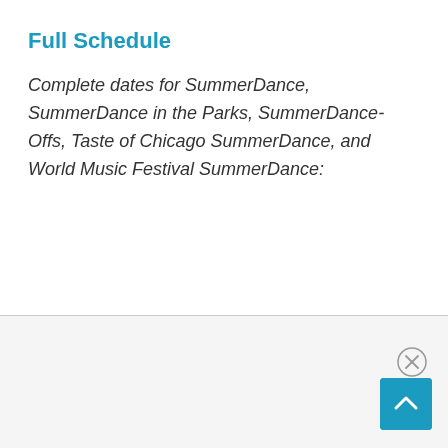Full Schedule
Complete dates for SummerDance, SummerDance in the Parks, SummerDance-Offs, Taste of Chicago SummerDance, and World Music Festival SummerDance: